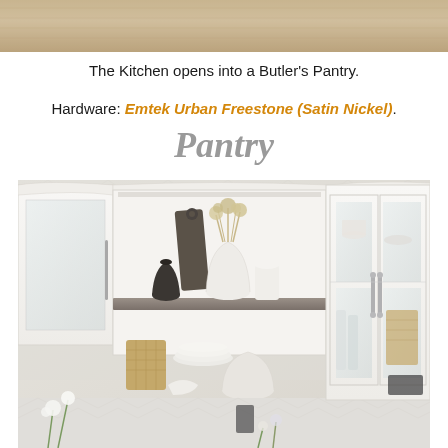[Figure (photo): Top portion of a kitchen or butler's pantry image showing wood-look flooring or cabinetry detail]
The Kitchen opens into a Butler’s Pantry.
Hardware: Emtek Urban Freestone (Satin Nickel).
Pantry
[Figure (photo): Interior photo of a butler's pantry with white cabinetry featuring glass-front upper cabinets with satin nickel hardware, open shelving styled with white ceramic vases, dried florals, a dark cutting board, woven baskets, plates and bowls. Herringbone tile backsplash visible.]